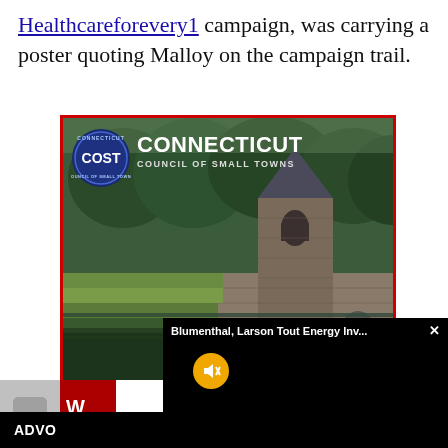Healthcareforevery1 campaign, was carrying a poster quoting Malloy on the campaign trail.
[Figure (photo): Connecticut Council of Small Towns (COST) logo and banner image showing a stone dam structure reflected in water, surrounded by forested hills. The COST badge appears in the upper left with the Connecticut Council of Small Towns wordmark.]
[Figure (screenshot): Partial video popup overlay reading 'Blumenthal, Larson Tout Energy Inv...' with a close X button, and a muted speaker icon (orange circle with mute symbol) over a black video area.]
[Figure (screenshot): Partial advertisement at bottom left, showing a gray speech-bubble icon, red strip with partial text 'W' and 'ca', and a black bar with white bold text 'ADVO'.]